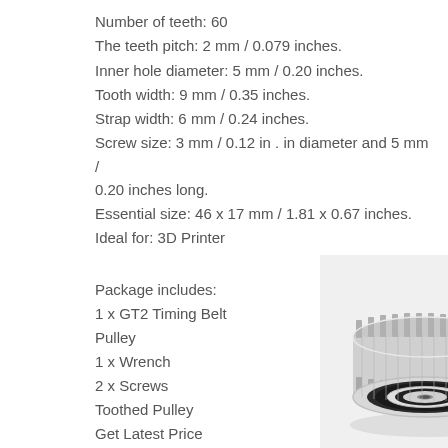Number of teeth: 60
The teeth pitch: 2 mm / 0.079 inches.
Inner hole diameter: 5 mm / 0.20 inches.
Tooth width: 9 mm / 0.35 inches.
Strap width: 6 mm / 0.24 inches.
Screw size: 3 mm / 0.12 in . in diameter and 5 mm / 0.20 inches long.
Essential size: 46 x 17 mm / 1.81 x 0.67 inches.
Ideal for: 3D Printer
Package includes:
1 x GT2 Timing Belt Pulley
1 x Wrench
2 x Screws
Toothed Pulley
Get Latest Price
Backed by a team of adroit professionals, we are manufacturing an extensive range of Toothed Pulley
[Figure (photo): GT2 Timing Belt Pulley - silver metallic toothed pulley with black rubber seal rings and center bore hole, photographed on white background]